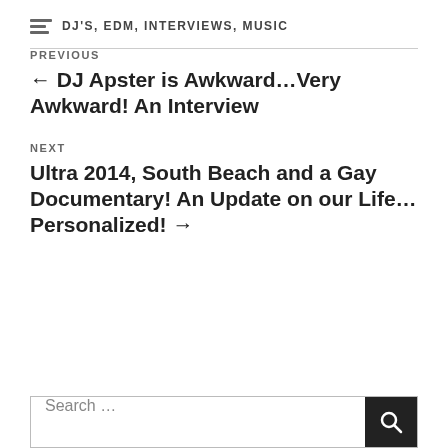DJ'S, EDM, INTERVIEWS, MUSIC
PREVIOUS
← DJ Apster is Awkward…Very Awkward! An Interview
NEXT
Ultra 2014, South Beach and a Gay Documentary! An Update on our Life…Personalized! →
Search …